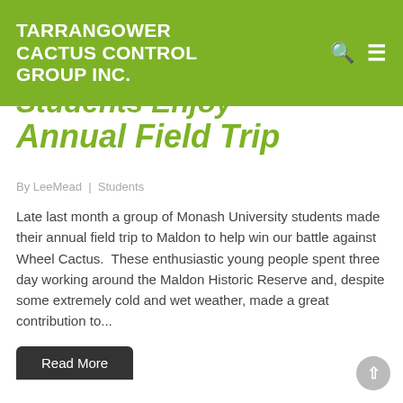TARRANGOWER CACTUS CONTROL GROUP INC.
Students Enjoy Annual Field Trip
By LeeMead  |  Students
Late last month a group of Monash University students made their annual field trip to Maldon to help win our battle against Wheel Cactus.  These enthusiastic young people spent three day working around the Maldon Historic Reserve and, despite some extremely cold and wet weather, made a great contribution to...
Read More